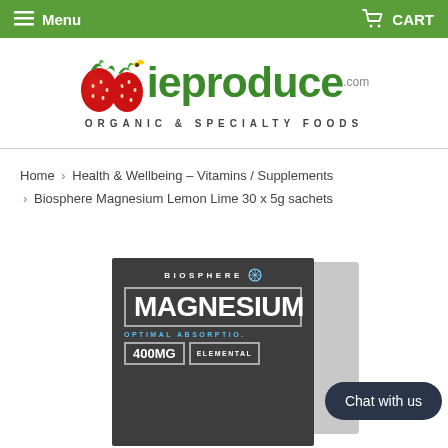Menu   CART
[Figure (logo): ieproduce.com logo with strawberry imagery and text 'ORGANIC & SPECIALTY FOODS']
Home › Health & Wellbeing – Vitamins / Supplements › Biosphere Magnesium Lemon Lime 30 x 5g sachets
[Figure (photo): Biosphere Magnesium product box showing 'MAGNESIUM', 'OPTIMAL ABSORPTION', '400MG', 'ELEMENTAL' on dark grey packaging]
Chat with us